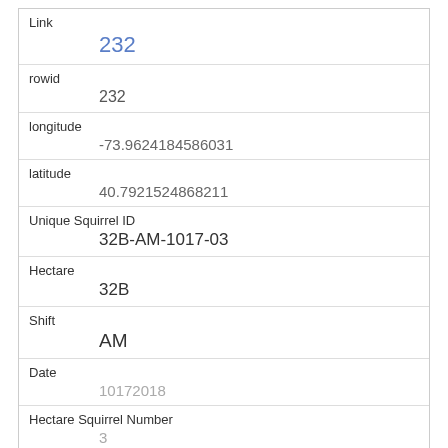| Link | 232 |
| rowid | 232 |
| longitude | -73.9624184586031 |
| latitude | 40.7921524868211 |
| Unique Squirrel ID | 32B-AM-1017-03 |
| Hectare | 32B |
| Shift | AM |
| Date | 10172018 |
| Hectare Squirrel Number | 3 |
| Age | Adult |